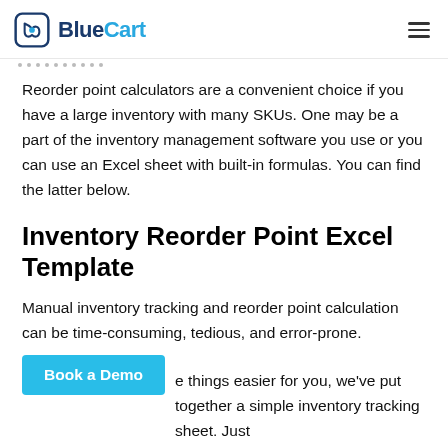BlueCart
Reorder point calculators are a convenient choice if you have a large inventory with many SKUs. One may be a part of the inventory management software you use or you can use an Excel sheet with built-in formulas. You can find the latter below.
Inventory Reorder Point Excel Template
Manual inventory tracking and reorder point calculation can be time-consuming, tedious, and error-prone.
e things easier for you, we've put together a simple inventory tracking sheet. Just